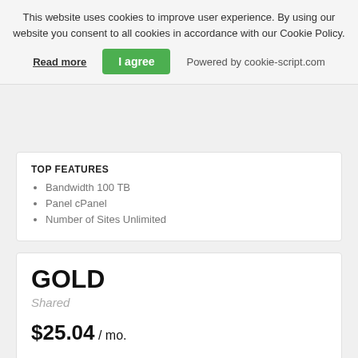This website uses cookies to improve user experience. By using our website you consent to all cookies in accordance with our Cookie Policy.
Read more | I agree | Powered by cookie-script.com
TOP FEATURES
Bandwidth 100 TB
Panel cPanel
Number of Sites Unlimited
GOLD
Shared
$25.04 / mo.
DISK STORAGE
50 GB
TOP FEATURES